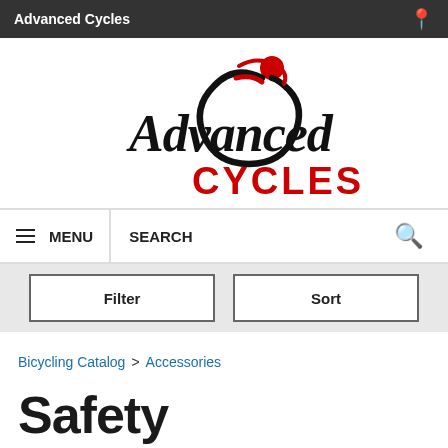Advanced Cycles
[Figure (logo): Advanced Cycles logo — stylized cyclist in red and black with 'Advanced' in black script and 'CYCLES' in bold red capitals]
MENU   SEARCH
Filter
Sort
Bicycling Catalog > Accessories
Safety